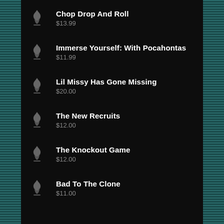Chop Drop And Roll
$13.99
Immerse Yourself: With Pocahontas
$11.99
Lil Missy Has Gone Missing
$20.00
The New Recruits
$12.00
The Knockout Game
$12.00
Bad To The Clone
$11.00